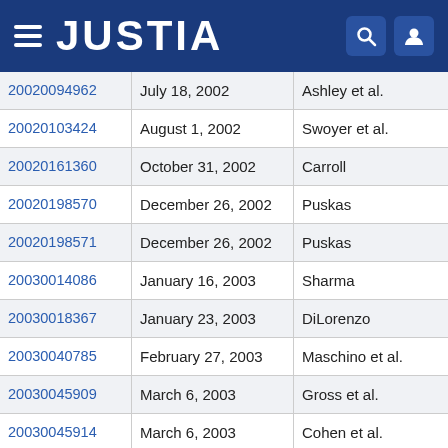JUSTIA
| ID | Date | Name |
| --- | --- | --- |
| 20020094962 | July 18, 2002 | Ashley et al. |
| 20020103424 | August 1, 2002 | Swoyer et al. |
| 20020161360 | October 31, 2002 | Carroll |
| 20020198570 | December 26, 2002 | Puskas |
| 20020198571 | December 26, 2002 | Puskas |
| 20030014086 | January 16, 2003 | Sharma |
| 20030018367 | January 23, 2003 | DiLorenzo |
| 20030040785 | February 27, 2003 | Maschino et al. |
| 20030045909 | March 6, 2003 | Gross et al. |
| 20030045914 | March 6, 2003 | Cohen et al. |
| 20030074000 | April 17, 2003 | ... |